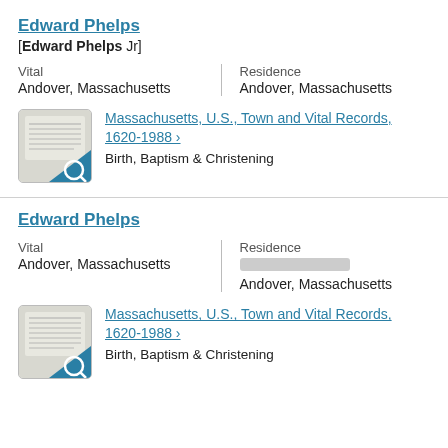Edward Phelps
[Edward Phelps Jr]
Vital
Andover, Massachusetts
Residence
Andover, Massachusetts
[Figure (photo): Thumbnail of a historical document record page]
Massachusetts, U.S., Town and Vital Records, 1620-1988 >
Birth, Baptism & Christening
Edward Phelps
Vital
Andover, Massachusetts
Residence
[blurred] Andover, Massachusetts
[Figure (photo): Thumbnail of a historical document record page]
Massachusetts, U.S., Town and Vital Records, 1620-1988 >
Birth, Baptism & Christening